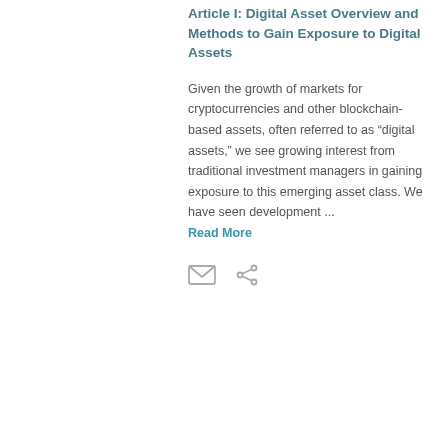Article I: Digital Asset Overview and Methods to Gain Exposure to Digital Assets
Given the growth of markets for cryptocurrencies and other blockchain-based assets, often referred to as “digital assets,” we see growing interest from traditional investment managers in gaining exposure to this emerging asset class. We have seen development ...
Read More
[Figure (other): Email envelope icon and share icon (social sharing icons)]